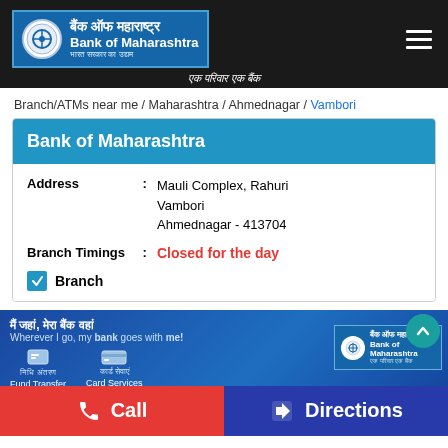[Figure (logo): Bank of Maharashtra logo with Marathi and English text on dark header bar]
एक परिवार एक बैंक
Branch/ATMs near me / Maharashtra / Ahmednagar / Vambori
Bank of Maharashtra
Address : Mauli Complex, Rahuri Vambori Ahmednagar - 413704
Branch Timings : Closed for the day
✓ Branch
[Figure (screenshot): Bank of Maharashtra promotional banner with Fund Transfer and Card Services icons]
Call
Directions